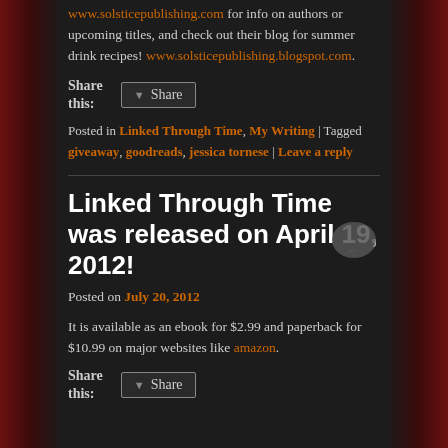www.solsticepublishing.com for info on authors or upcoming titles, and check out their blog for summer drink recipes! www.solsticepublishing.blogspot.com.
Share this: [Share button]
Posted in Linked Through Time, My Writing | Tagged giveaway, goodreads, jessica tornese | Leave a reply
Linked Through Time was released on April 19, 2012!
Posted on July 20, 2012
It is available as an ebook for $2.99 and paperback for $10.99 on major websites like amazon.
Share this: [Share button]
[Figure (illustration): Gray speech/comment bubble icon in upper right area of post title section]